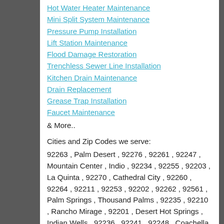Hot Water Heater Maintenance
Mini Split System Maintenance
Pressure Pump Installation
Lift Station Maintenance
Flood Damage Restoration
Trenchless Sewer Line Installation
Kitchen Drain Maintenance
Drain Replacement
Grease Trap Installation
Faucet Maintenance
& More..
Cities and Zip Codes we serve:
92263 , Palm Desert , 92276 , 92261 , 92247 , Mountain Center , Indio , 92234 , 92255 , 92203 , La Quinta , 92270 , Cathedral City , 92260 , 92264 , 92211 , 92253 , 92202 , 92262 , 92561 , Palm Springs , Thousand Palms , 92235 , 92210 , Rancho Mirage , 92201 , Desert Hot Springs , Indian Wells , 92236 , 92241 , 92248 , Coachella and More.